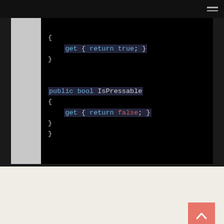[Figure (screenshot): Code screenshot showing C# code with IsPressable property returning false, with dark background and a light grey gutter on the left]
The IKinectControl interface has two properties allowing querying the type of control 'manipulatable' or 'pressable' or both and CreateController which returns an object implementing IKinectController. I created a custom class implementing the required interfaces and